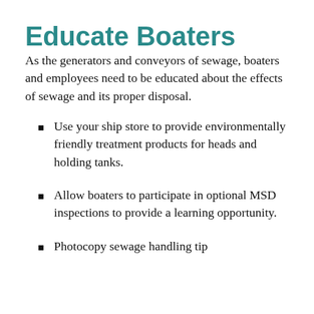Educate Boaters
As the generators and conveyors of sewage, boaters and employees need to be educated about the effects of sewage and its proper disposal.
Use your ship store to provide environmentally friendly treatment products for heads and holding tanks.
Allow boaters to participate in optional MSD inspections to provide a learning opportunity.
Photocopy sewage handling tip